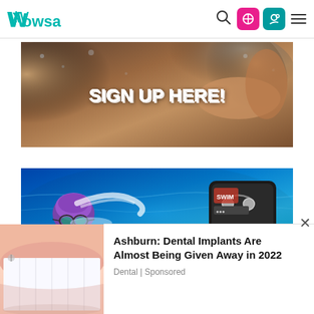Wowsa — navigation bar with logo, search, and icons
[Figure (photo): Banner image with swimmers in water and text overlay reading 'SIGN UP HERE!']
[Figure (photo): Banner image showing a swimmer with purple swim cap and goggles in blue water, alongside a waterproof device/earbuds case]
[Figure (photo): Advertisement showing close-up of white teeth/dental implants]
Ashburn: Dental Implants Are Almost Being Given Away in 2022
Dental | Sponsored